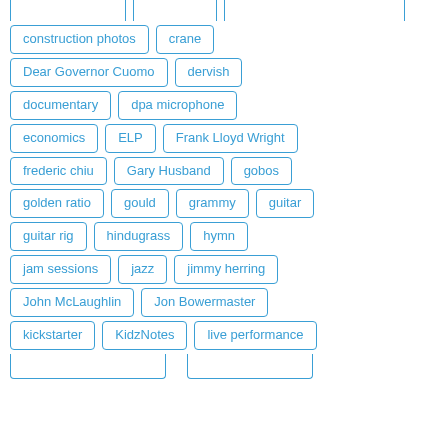construction photos
crane
Dear Governor Cuomo
dervish
documentary
dpa microphone
economics
ELP
Frank Lloyd Wright
frederic chiu
Gary Husband
gobos
golden ratio
gould
grammy
guitar
guitar rig
hindugrass
hymn
jam sessions
jazz
jimmy herring
John McLaughlin
Jon Bowermaster
kickstarter
KidzNotes
live performance